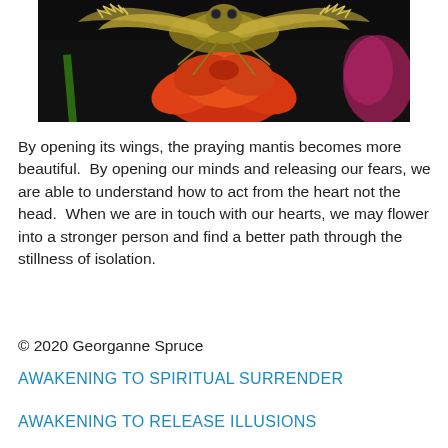[Figure (photo): Close-up macro photograph of a praying mantis with wings spread, perched on a red/orange flower against a dark black background. The mantis has yellow-green coloring with red flower petals and pink/magenta accents visible.]
By opening its wings, the praying mantis becomes more beautiful.  By opening our minds and releasing our fears, we are able to understand how to act from the heart not the head.  When we are in touch with our hearts, we may flower into a stronger person and find a better path through the stillness of isolation.
© 2020 Georganne Spruce
AWAKENING TO SPIRITUAL SURRENDER
AWAKENING TO RELEASE ILLUSIONS